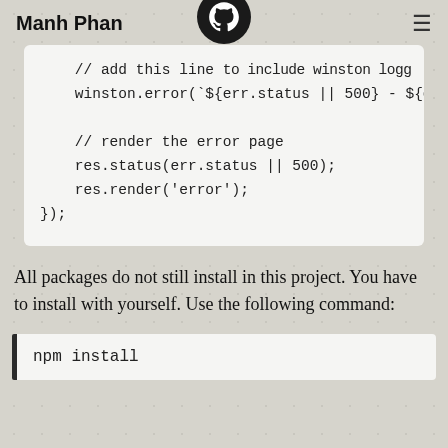Manh Phan
[Figure (logo): GitHub Octocat logo in a dark circular badge]
// add this line to include winston logging
    winston.error(`${err.status || 500} - ${e

    // render the error page
    res.status(err.status || 500);
    res.render('error');
});
All packages do not still install in this project. You have to install with yourself. Use the following command:
npm install